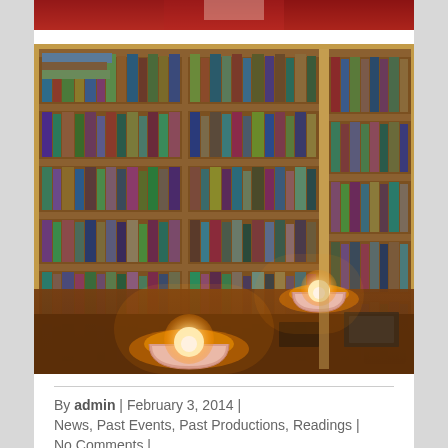[Figure (photo): Partial top strip showing a person in red clothing]
[Figure (photo): Interior of a cozy bookshop or library with floor-to-ceiling wooden bookshelves filled with books, and two glowing candle holders on a wooden table in the foreground]
By admin  |  February 3, 2014  |
News, Past Events, Past Productions, Readings  |
No Comments  |